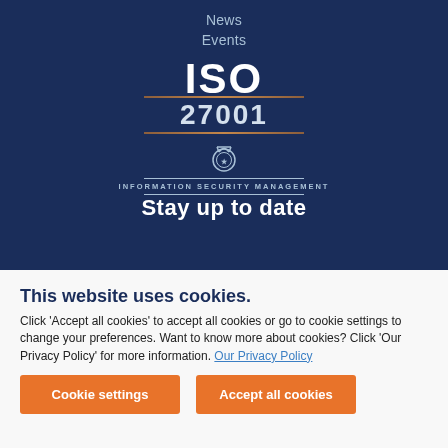News
Events
[Figure (logo): ISO 27001 Information Security Management certification logo with medal icon, decorative brown lines, and the text 'INFORMATION SECURITY MANAGEMENT']
Stay up to date
This website uses cookies. Click 'Accept all cookies' to accept all cookies or go to cookie settings to change your preferences. Want to know more about cookies? Click 'Our Privacy Policy' for more information. Our Privacy Policy
Cookie settings
Accept all cookies